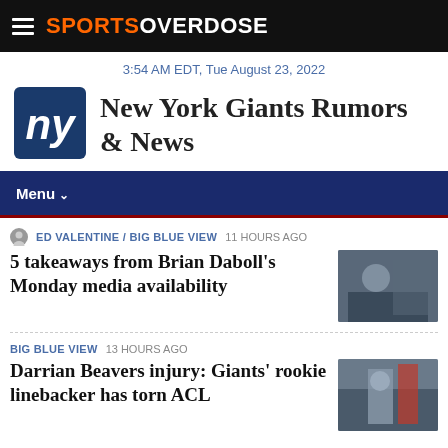SPORTS OVERDOSE
3:54 AM EDT, Tue August 23, 2022
New York Giants Rumors & News
Menu
ED VALENTINE / BIG BLUE VIEW  11 HOURS AGO
5 takeaways from Brian Daboll’s Monday media availability
BIG BLUE VIEW  13 HOURS AGO
Darrian Beavers injury: Giants’ rookie linebacker has torn ACL